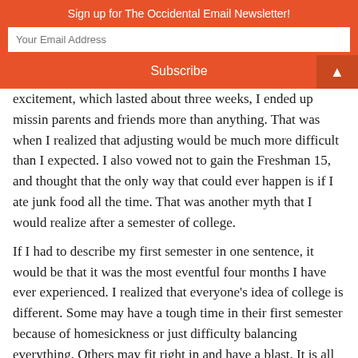Sign up for The Occidental Email Newsletter!
excitement, which lasted about three weeks, I ended up missing parents and friends more than anything. That was when I realized that adjusting would be much more difficult than I expected. I also vowed not to gain the Freshman 15, and thought that the only way that could ever happen is if I ate junk food all the time. That was another myth that I would realize after a semester of college.
If I had to describe my first semester in one sentence, it would be that it was the most eventful four months I have ever experienced. I realized that everyone's idea of college is different. Some may have a tough time in their first semester because of homesickness or just difficulty balancing everything. Others may fit right in and have a blast. It is all dependent on the individual. This is probably why I could not picture what college life would look like. Nevertheless,